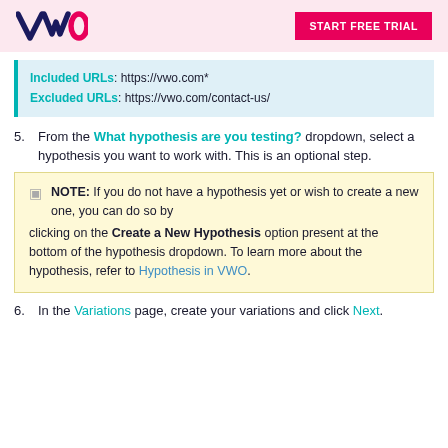VWO | START FREE TRIAL
Included URLs: https://vwo.com*
Excluded URLs: https://vwo.com/contact-us/
5. From the What hypothesis are you testing? dropdown, select a hypothesis you want to work with. This is an optional step.
NOTE: If you do not have a hypothesis yet or wish to create a new one, you can do so by clicking on the Create a New Hypothesis option present at the bottom of the hypothesis dropdown. To learn more about the hypothesis, refer to Hypothesis in VWO.
6. In the Variations page, create your variations and click Next.